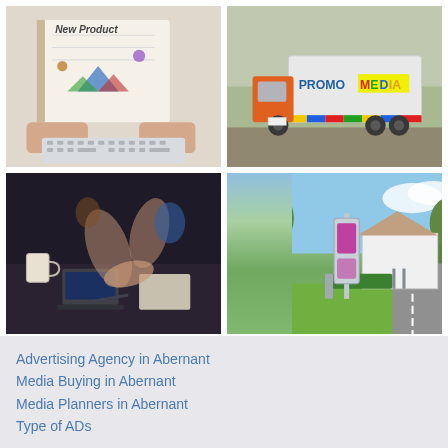[Figure (photo): Grid of four photos: top-left shows hands holding a notebook with 'New Product' written on it near a keyboard; top-right shows an orange Scania truck with 'PROMO MEDIA' branding on its side; bottom-left shows people collaborating around a table with laptops and coffee; bottom-right shows an outdoor advertising kiosk/display stand on a road next to a house with green grass and trees.]
Advertising Agency in Abernant
Media Buying in Abernant
Media Planners in Abernant
Type of ADs